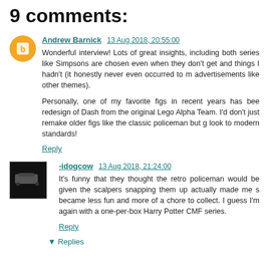9 comments:
Andrew Barnick 13 Aug 2018, 20:55:00
Wonderful interview! Lots of great insights, including both series like Simpsons are chosen even when they don't get and things I hadn't (it honestly never even occurred to m advertisements like other themes).

Personally, one of my favorite figs in recent years has bee redesign of Dash from the original Lego Alpha Team. I'd don't just remake older figs like the classic policeman but g look to modern standards!
Reply
-idogcow 13 Aug 2018, 21:24:00
It's funny that they thought the retro policeman would be given the scalpers snapping them up actually made me s became less fun and more of a chore to collect. I guess I'm again with a one-per-box Harry Potter CMF series.
Reply
▼ Replies